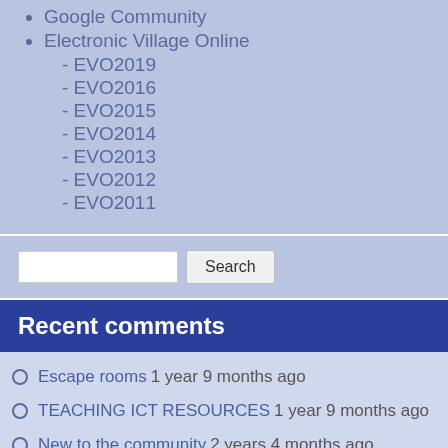Google Community
Electronic Village Online
- EVO2019
- EVO2016
- EVO2015
- EVO2014
- EVO2013
- EVO2012
- EVO2011
Recent comments
Escape rooms 1 year 9 months ago
TEACHING ICT RESOURCES 1 year 9 months ago
New to the community 2 years 4 months ago